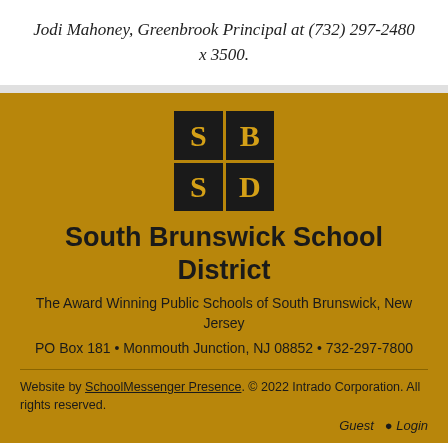Jodi Mahoney, Greenbrook Principal at (732) 297-2480 x 3500.
[Figure (logo): South Brunswick School District logo — 2x2 grid of black squares each with a gold letter: S, B, S, D]
South Brunswick School District
The Award Winning Public Schools of South Brunswick, New Jersey
PO Box 181 • Monmouth Junction, NJ 08852 • 732-297-7800
Website by SchoolMessenger Presence. © 2022 Intrado Corporation. All rights reserved.